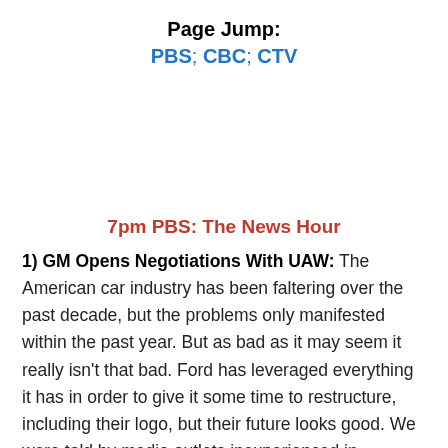Page Jump:
PBS; CBC; CTV
7pm PBS: The News Hour
1) GM Opens Negotiations With UAW: The American car industry has been faltering over the past decade, but the problems only manifested within the past year. But as bad as it may seem it really isn't that bad. Ford has leveraged everything it has in order to give it some time to restructure, including their logo, but their future looks good. We were told by media outlets inexperienced in